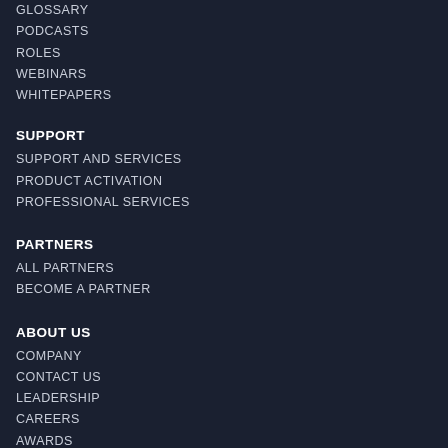GLOSSARY
PODCASTS
ROLES
WEBINARS
WHITEPAPERS
SUPPORT
SUPPORT AND SERVICES
PRODUCT ACTIVATION
PROFESSIONAL SERVICES
PARTNERS
ALL PARTNERS
BECOME A PARTNER
ABOUT US
COMPANY
CONTACT US
LEADERSHIP
CAREERS
AWARDS